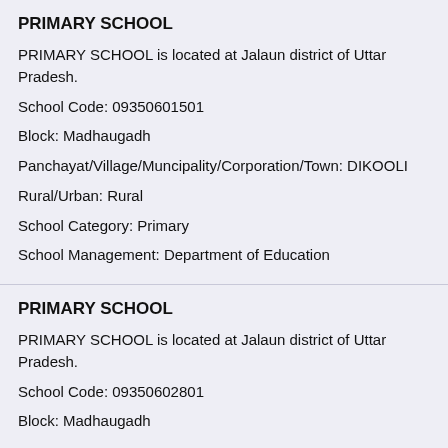PRIMARY SCHOOL
PRIMARY SCHOOL is located at Jalaun district of Uttar Pradesh.
School Code: 09350601501
Block: Madhaugadh
Panchayat/Village/Muncipality/Corporation/Town: DIKOOLI
Rural/Urban: Rural
School Category: Primary
School Management: Department of Education
PRIMARY SCHOOL
PRIMARY SCHOOL is located at Jalaun district of Uttar Pradesh.
School Code: 09350602801
Block: Madhaugadh